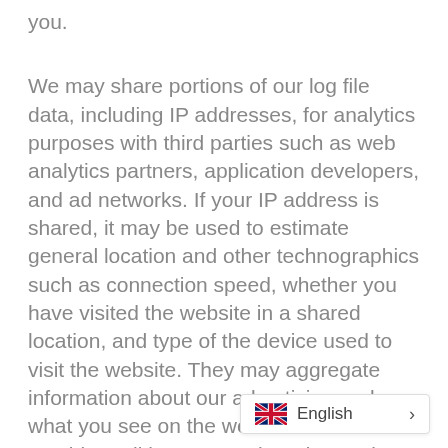you.
We may share portions of our log file data, including IP addresses, for analytics purposes with third parties such as web analytics partners, application developers, and ad networks. If your IP address is shared, it may be used to estimate general location and other technographics such as connection speed, whether you have visited the website in a shared location, and type of the device used to visit the website. They may aggregate information about our advertising and what you see on the website and then provide auditing, research and reporting for u advertisers.